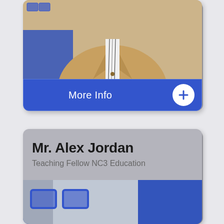[Figure (screenshot): Top portion of a profile card showing a person in a beige/tan blazer with a striped tie, with a blue 'More Info' button bar at the bottom containing a white plus circle icon]
[Figure (screenshot): Bottom profile card for Mr. Alex Jordan showing his name and title 'Teaching Fellow NC3 Education', with a partial photo at the bottom showing blue decorative elements on a blue/silver background]
Mr. Alex Jordan
Teaching Fellow NC3 Education